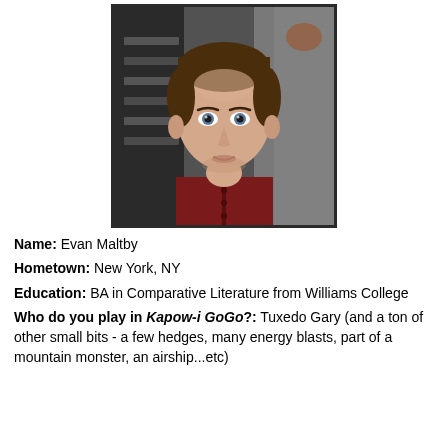[Figure (photo): Headshot of a young man with short brown hair wearing a dark red henley shirt, looking directly at the camera. The background is dark/blurred.]
Name: Evan Maltby
Hometown: New York, NY
Education: BA in Comparative Literature from Williams College
Who do you play in Kapow-i GoGo?: Tuxedo Gary (and a ton of other small bits - a few hedges, many energy blasts, part of a mountain monster, an airship...etc)